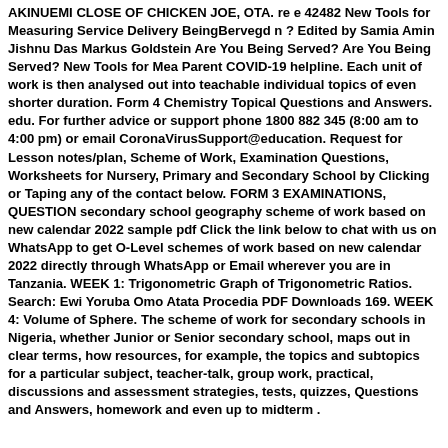AKINUEMI CLOSE OF CHICKEN JOE, OTA. re e 42482 New Tools for Measuring Service Delivery BeingBervegd n ? Edited by Samia Amin Jishnu Das Markus Goldstein Are You Being Served? Are You Being Served? New Tools for Mea Parent COVID-19 helpline. Each unit of work is then analysed out into teachable individual topics of even shorter duration. Form 4 Chemistry Topical Questions and Answers. edu. For further advice or support phone 1800 882 345 (8:00 am to 4:00 pm) or email CoronaVirusSupport@education. Request for Lesson notes/plan, Scheme of Work, Examination Questions, Worksheets for Nursery, Primary and Secondary School by Clicking or Taping any of the contact below. FORM 3 EXAMINATIONS, QUESTION secondary school geography scheme of work based on new calendar 2022 sample pdf Click the link below to chat with us on WhatsApp to get O-Level schemes of work based on new calendar 2022 directly through WhatsApp or Email wherever you are in Tanzania. WEEK 1: Trigonometric Graph of Trigonometric Ratios. Search: Ewi Yoruba Omo Atata Procedia PDF Downloads 169. WEEK 4: Volume of Sphere. The scheme of work for secondary schools in Nigeria, whether Junior or Senior secondary school, maps out in clear terms, how resources, for example, the topics and subtopics for a particular subject, teacher-talk, group work, practical, discussions and assessment strategies, tests, quizzes, Questions and Answers, homework and even up to midterm .